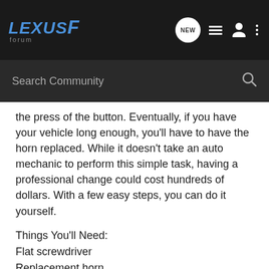[Figure (screenshot): Lexus F Forum navigation bar with logo, NEW button, list icon, user icon, and dots menu icon]
[Figure (screenshot): Search Community search bar with magnifying glass icon]
the press of the button. Eventually, if you have your vehicle long enough, you'll have to have the horn replaced. While it doesn't take an auto mechanic to perform this simple task, having a professional change could cost hundreds of dollars. With a few easy steps, you can do it yourself.
Things You'll Need:
Flat screwdriver
Replacement horn
1.Check the fuses for the horn. If this is not an elective replacement, checking the fuses might save time and money replacing the horn.